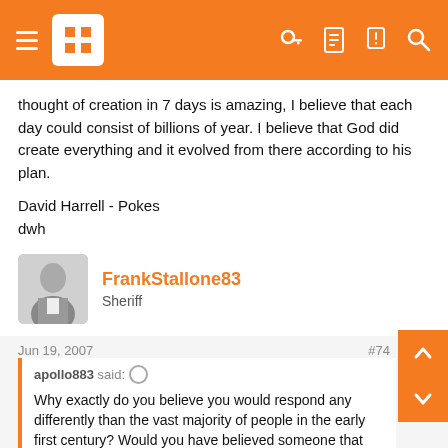Navigation bar with hamburger menu, logo, and icons
thought of creation in 7 days is amazing, I believe that each day could consist of billions of year. I believe that God did create everything and it evolved from there according to his plan.

David Harrell - Pokes
dwh
[Figure (photo): Avatar photo of FrankStallone83 - black and white photo of a man]
FrankStallone83
Sheriff
Jun 19, 2007
#74
apollo883 said:
Why exactly do you believe you would respond any differently than the vast majority of people in the early first century? Would you have believed someone that said they were God in physical form? If they actually performed the feats that Christ did? What would God appearing to you in physical form have to do to convince you he was God?